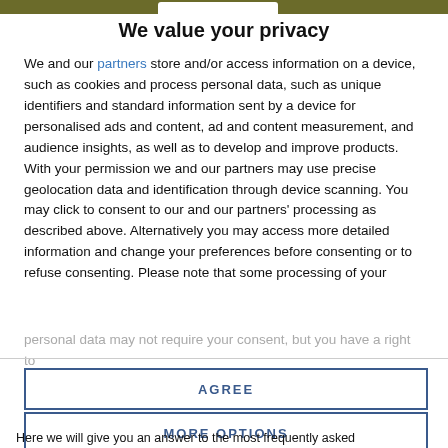We value your privacy
We and our partners store and/or access information on a device, such as cookies and process personal data, such as unique identifiers and standard information sent by a device for personalised ads and content, ad and content measurement, and audience insights, as well as to develop and improve products. With your permission we and our partners may use precise geolocation data and identification through device scanning. You may click to consent to our and our partners' processing as described above. Alternatively you may access more detailed information and change your preferences before consenting or to refuse consenting. Please note that some processing of your personal data may not require your consent, but you have a right to
AGREE
MORE OPTIONS
Here we will give you an answer to the most frequently asked